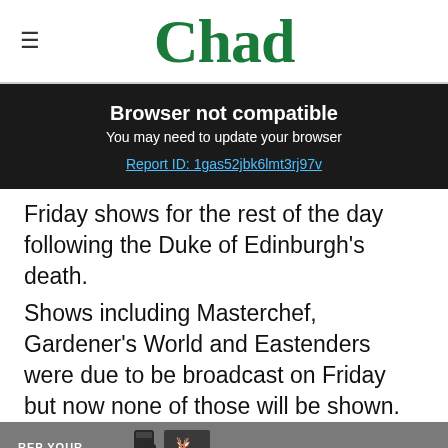≡  Chad
Browser not compatible
You may need to update your browser
Report ID: 1gas52jbk6lmt3rj97v
Friday shows for the rest of the day following the Duke of Edinburgh's death.
Shows including Masterchef, Gardener's World and Eastenders were due to be broadcast on Friday but now none of those will be shown.
[Figure (screenshot): YETI advertisement: REP YOUR HOME STATE - START CUSTOMIZING]
Get 70% fewer ads. Start your 2-month trial for just £2 per month
Subscribe Today